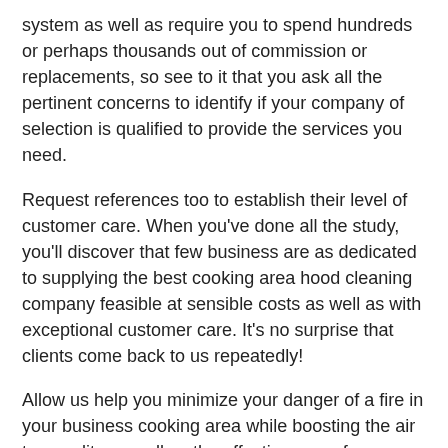system as well as require you to spend hundreds or perhaps thousands out of commission or replacements, so see to it that you ask all the pertinent concerns to identify if your company of selection is qualified to provide the services you need.
Request references too to establish their level of customer care. When you've done all the study, you'll discover that few business are as dedicated to supplying the best cooking area hood cleaning company feasible at sensible costs as well as with exceptional customer care. It's no surprise that clients come back to us repeatedly!
Allow us help you minimize your danger of a fire in your business cooking area while boosting the air top quality as well as the effectiveness of your cooking area exhaust system!